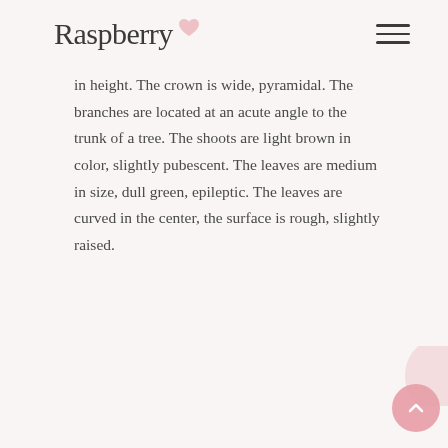Raspberry
in height. The crown is wide, pyramidal. The branches are located at an acute angle to the trunk of a tree. The shoots are light brown in color, slightly pubescent. The leaves are medium in size, dull green, epileptic. The leaves are curved in the center, the surface is rough, slightly raised.